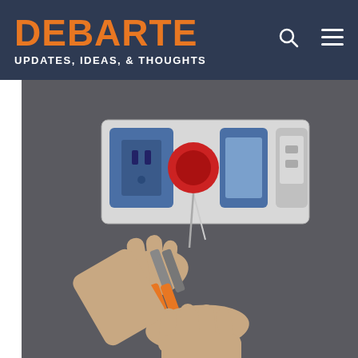DEBARTE — UPDATES, IDEAS, & THOUGHTS
[Figure (photo): Electrician's hands using pliers to wire electrical outlets/switches mounted on a grey wall, with wires and orange wire connectors visible.]